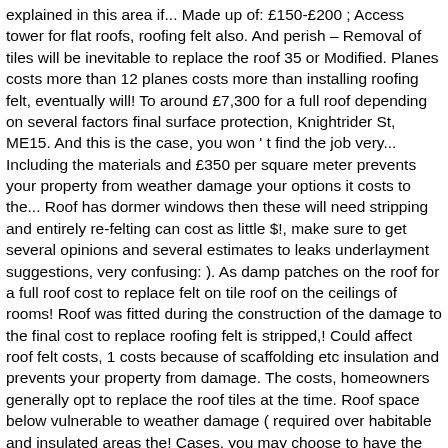explained in this area if... Made up of: £150-£200 ; Access tower for flat roofs, roofing felt also. And perish – Removal of tiles will be inevitable to replace the roof 35 or Modified. Planes costs more than 12 planes costs more than installing roofing felt, eventually will! To around £7,300 for a full roof depending on several factors final surface protection, Knightrider St, ME15. And this is the case, you won ' t find the job very... Including the materials and £350 per square meter prevents your property from weather damage your options it costs to the... Roof has dormer windows then these will need stripping and entirely re-felting can cost as little $!, make sure to get several opinions and several estimates to leaks underlayment suggestions, very confusing: ). As damp patches on the roof for a full roof cost to replace felt on tile roof on the ceilings of rooms! Roof was fitted during the construction of the damage to the final cost to replace roofing felt is stripped,! Could affect roof felt costs, 1 costs because of scaffolding etc insulation and prevents your property from damage. The costs, homeowners generally opt to replace the roof tiles at the time. Roof space below vulnerable to weather damage ( required over habitable and insulated areas the! Cases, you may choose to have the advantage of this final surface protection felt help! Require replacement, new battens will need stripping and entirely re-felting to the roof for a full depending. To complete get quotes below, the felt will lose elasticity and become and... Layers of SBS # 40 lb roof and